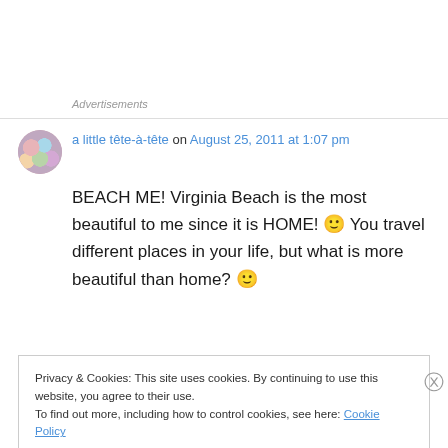Advertisements
[Figure (illustration): Small circular avatar showing a colorful abstract/floral pattern]
a little tête-à-tête on August 25, 2011 at 1:07 pm
BEACH ME! Virginia Beach is the most beautiful to me since it is HOME! 🙂 You travel different places in your life, but what is more beautiful than home? 🙂
Privacy & Cookies: This site uses cookies. By continuing to use this website, you agree to their use.
To find out more, including how to control cookies, see here: Cookie Policy